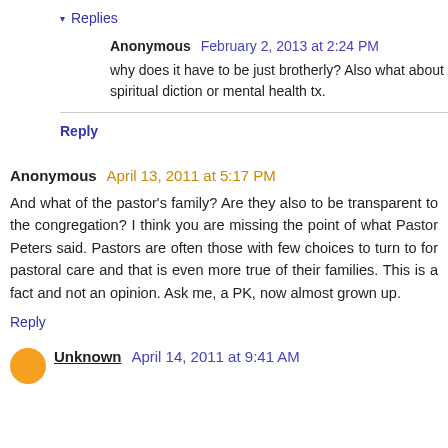▾ Replies
Anonymous  February 2, 2013 at 2:24 PM
why does it have to be just brotherly? Also what about spiritual diction or mental health tx.
Reply
Anonymous  April 13, 2011 at 5:17 PM
And what of the pastor's family? Are they also to be transparent to the congregation? I think you are missing the point of what Pastor Peters said. Pastors are often those with few choices to turn to for pastoral care and that is even more true of their families. This is a fact and not an opinion. Ask me, a PK, now almost grown up.
Reply
Unknown  April 14, 2011 at 9:41 AM